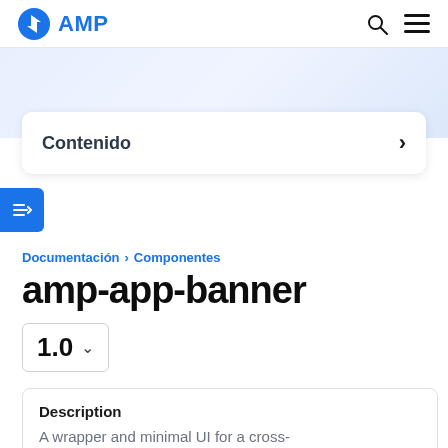AMP
Contenido
Documentación > Componentes
amp-app-banner
1.0
Description
A wrapper and minimal UI for a cross-